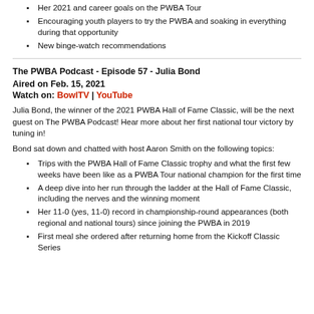Her 2021 and career goals on the PWBA Tour
Encouraging youth players to try the PWBA and soaking in everything during that opportunity
New binge-watch recommendations
The PWBA Podcast - Episode 57 - Julia Bond
Aired on Feb. 15, 2021
Watch on: BowlTV | YouTube
Julia Bond, the winner of the 2021 PWBA Hall of Fame Classic, will be the next guest on The PWBA Podcast! Hear more about her first national tour victory by tuning in!
Bond sat down and chatted with host Aaron Smith on the following topics:
Trips with the PWBA Hall of Fame Classic trophy and what the first few weeks have been like as a PWBA Tour national champion for the first time
A deep dive into her run through the ladder at the Hall of Fame Classic, including the nerves and the winning moment
Her 11-0 (yes, 11-0) record in championship-round appearances (both regional and national tours) since joining the PWBA in 2019
First meal she ordered after returning home from the Kickoff Classic Series